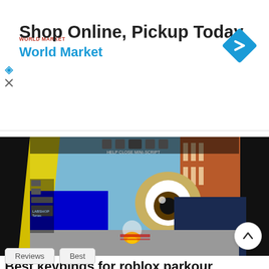[Figure (infographic): Advertisement banner for World Market: 'Shop Online, Pickup Today' with World Market logo and a blue diamond navigation icon]
[Figure (screenshot): Screenshot of Roblox parkour game showing a first-person view with a character with a large eyeball head in an urban environment, with a game toolbar visible at the top]
Best keybinds for roblox parkour
The rule on debug mode has changed from recommended to required! This wont affect any runs verified nor submitte